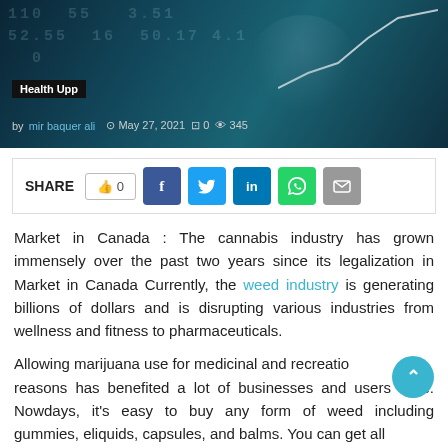[Figure (photo): Dark teal financial stock market background with numbers and a line chart, a person with glasses visible. Shows 'Health Upp' label and article metadata: by mir baquer ali, May 27 2021, 0 comments, 345 views.]
Health Upp
by mir baquer ali  ⊙ May 27, 2021  ⊡0  👁 345
SHARE  👍 0  f  t  in  WhatsApp  mail
Market in Canada : The cannabis industry has grown immensely over the past two years since its legalization in Market in Canada Currently, the weed industry is generating billions of dollars and is disrupting various industries from wellness and fitness to pharmaceuticals.
Allowing marijuana use for medicinal and recreational reasons has benefited a lot of businesses and users alike. Nowdays, it's easy to buy any form of weed including gummies, eliquids, capsules, and balms. You can get all